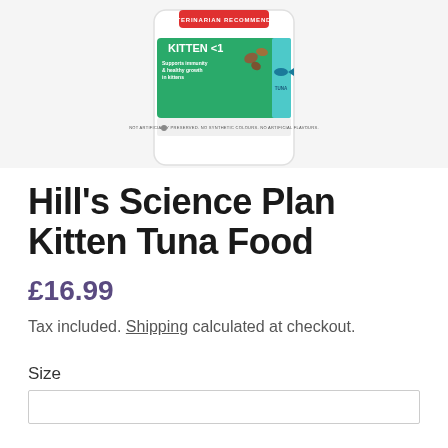[Figure (photo): Hill's Science Plan Kitten Tuna Food product package — white bag with green label reading 'KITTEN <1', 'Supports immunity & healthy growth in kittens', tuna fish illustration, and red 'VETERINARIAN RECOMMENDED' banner at top]
Hill's Science Plan Kitten Tuna Food
£16.99
Tax included. Shipping calculated at checkout.
Size